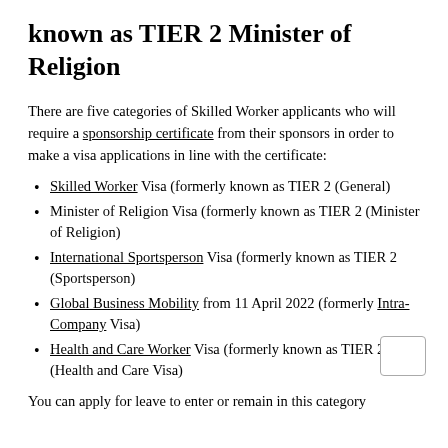known as TIER 2 Minister of Religion
There are five categories of Skilled Worker applicants who will require a sponsorship certificate from their sponsors in order to make a visa applications in line with the certificate:
Skilled Worker Visa (formerly known as TIER 2 (General)
Minister of Religion Visa (formerly known as TIER 2 (Minister of Religion)
International Sportsperson Visa (formerly known as TIER 2 (Sportsperson)
Global Business Mobility from 11 April 2022 (formerly Intra-Company Visa)
Health and Care Worker Visa (formerly known as TIER 2 (Health and Care Visa)
You can apply for leave to enter or remain in this category if you have been offered employment as a minister of religion with